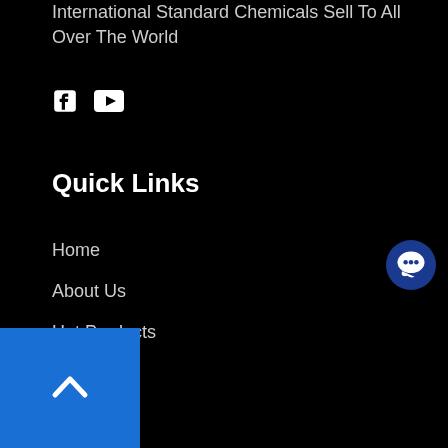International Standard Chemicals Sell To All Over The World
[Figure (illustration): Social media icons: Facebook and YouTube]
Quick Links
Home
About Us
Hot Products
Product
Blog
Tracking
Contact
[Figure (illustration): Blue circular chat button on right side]
[Figure (illustration): Blue back-to-top button with upward arrow in bottom-left corner]